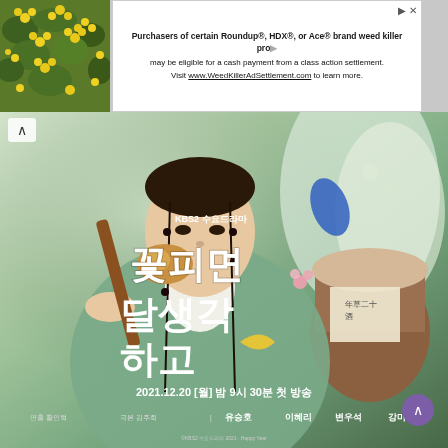[Figure (photo): Yellow flowering plant/shrub in top-left corner thumbnail image]
[Figure (infographic): Advertisement banner: Purchasers of certain Roundup®, HDX®, or Ace® brand weed killer products may be eligible for a cash payment from a class action settlement. Visit www.WeedKillerAdSettlement.com to learn more.]
[Figure (photo): Korean drama promotional poster for KBS2 Wednesday drama '꽃피면 달생각하고' (When the Flowers Bloom, I Think of the Moon). Shows actor in traditional Korean hanbok holding a wooden ladle/gourd and ceramic jar. Text includes broadcast date 2021.12.20 [월] 밤 9시 30분 첫 방송 and cast: 연출 황인혁, 극본 김주회, 유승호, 이혜리, 변우석, 강미나]